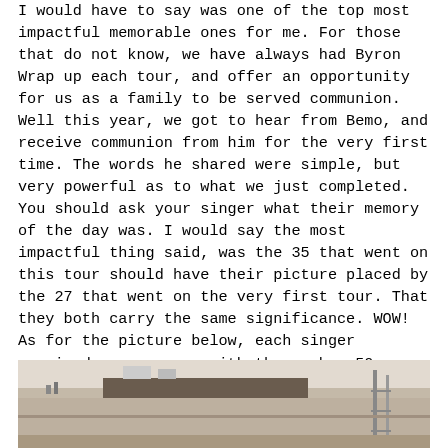I would have to say was one of the top most impactful memorable ones for me. For those that do not know, we have always had Byron Wrap up each tour, and offer an opportunity for us as a family to be served communion. Well this year, we got to hear from Bemo, and receive communion from him for the very first time. The words he shared were simple, but very powerful as to what we just completed. You should ask your singer what their memory of the day was. I would say the most impactful thing said, was the 35 that went on this tour should have their picture placed by the 27 that went on the very first tour. That they both carry the same significance. WOW! As for the picture below, each singer received a new cross with the number 50 on it. Given to each of us by Bemo and Carol. It was incredibly moving!
[Figure (photo): Partial photograph of a building exterior showing a rooftop, scaffolding on the right side, and a light-colored sky background.]